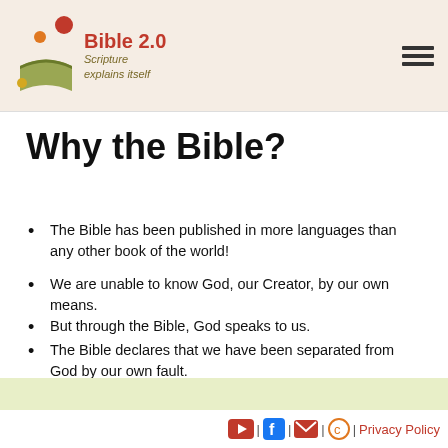Bible 2.0 — Scripture explains itself
Why the Bible?
The Bible has been published in more languages than any other book of the world!
We are unable to know God, our Creator, by our own means.
But through the Bible, God speaks to us.
The Bible declares that we have been separated from God by our own fault.
Jesus Christ has made it possible for us to meet God personally and to live in peace with Him.
| | | | Privacy Policy